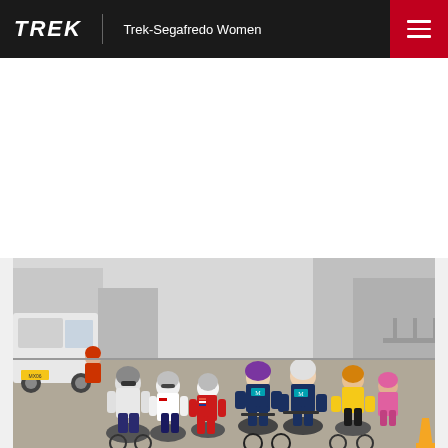Trek-Segafredo Women
[Figure (photo): Women's cycling road race peloton, multiple riders in various team kits (Movistar, Trek-Segafredo, others) riding on a street with a white van and buildings visible in background.]